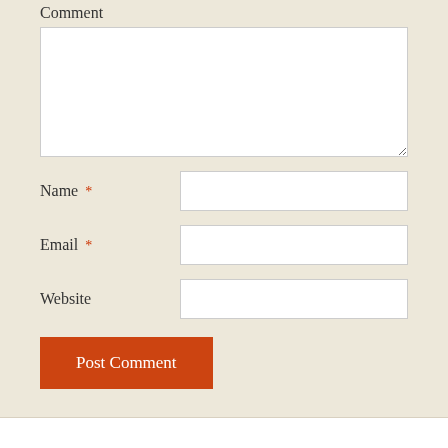Comment
Name *
Email *
Website
Post Comment
4Humanities Advocacy Projects
New Guidebook: Arts and Humanities: Don't Leave College Without